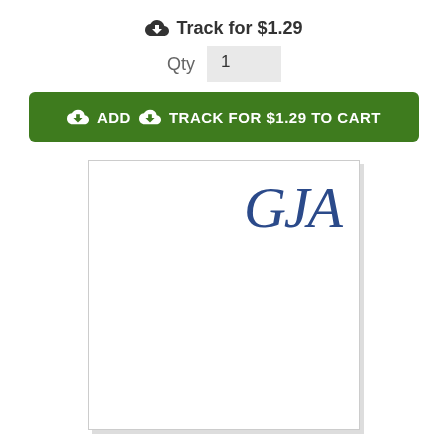Track for $1.29
Qty  1
ADD  TRACK FOR $1.29 TO CART
[Figure (illustration): White notepad product image with decorative navy blue script monogram 'GJA' in upper right corner, bordered with light gray shadow on right and bottom edges.]